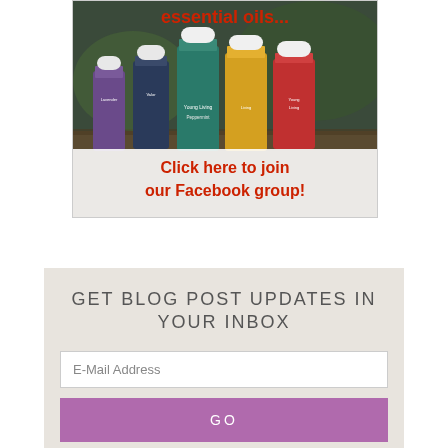[Figure (photo): Photo of Young Living essential oil bottles (Lavender, Valor, Peppermint, and others) on a wooden surface with red text overlay reading 'essential oils...' at the top and 'Click here to join our Facebook group!' at the bottom in red bold text on a white banner.]
GET BLOG POST UPDATES IN YOUR INBOX
E-Mail Address
GO